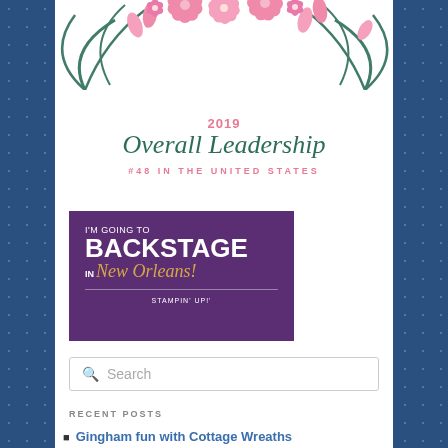[Figure (illustration): 2019 Overall Leadership award badge with floral tropical decoration (pink flowers and dark green palm leaves), pink text '2019', dark green cursive script 'Overall Leadership', and pink text '#48 IN THE UNITED STATES']
[Figure (logo): Purple banner reading 'I'M GOING TO BACKSTAGE IN New Orleans! STAMPIN' UP!' on dark purple background with gold script city name]
Search
RECENT POSTS
Gingham fun with Cottage Wreaths
Hello Harvest!
Soft Seedlings